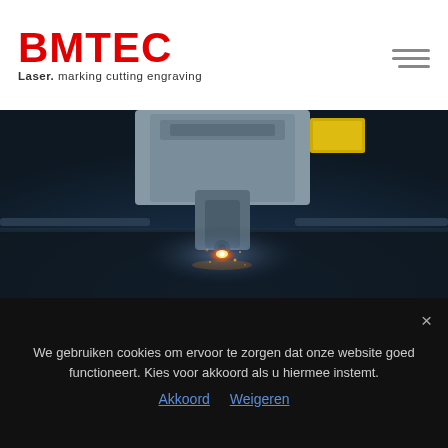BMTEC Laser. marking cutting engraving
[Figure (photo): Close-up photo of a laser cutting machine in operation, with bright orange spark/glow at the cutting point, blue-toned industrial setting]
✓ 1200M2 MACHINE PARK
✓ ISO 9001:2015
✓ BENELUX & GERMANY
We gebruiken cookies om ervoor te zorgen dat onze website goed functioneert. Kies voor akkoord als u hiermee instemt.
Akkoord  Weigeren